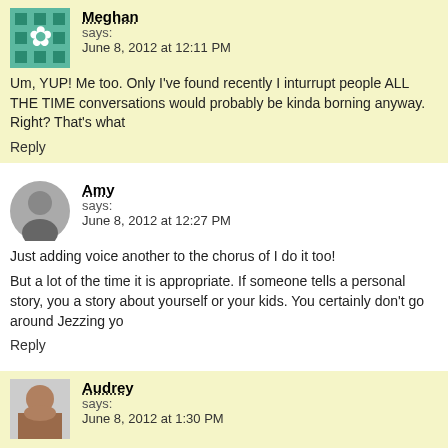Meghan says: June 8, 2012 at 12:11 PM
Um, YUP! Me too. Only I've found recently I inturrupt people ALL THE TIME conversations would probably be kinda borning anyway. Right? That's what
Reply
Amy says: June 8, 2012 at 12:27 PM
Just adding voice another to the chorus of I do it too!
But a lot of the time it is appropriate. If someone tells a personal story, you a story about yourself or your kids. You certainly don't go around Jezzing yo
Reply
Audrey says: June 8, 2012 at 1:30 PM
You mean the way I'm always like "OMG DEL DOES THAT TOO!" on your C missed an opportunity to meet last summer and now my family might not be husband and I hope to figure out how to plan our own vacation sans extend there is actually hope..but SO FAR AWAY)
Reply
bebehblog says: June 8, 2012 at 2:10 PM
But I do the same thing on YOUR blog! I seriously feel like I can't stop my